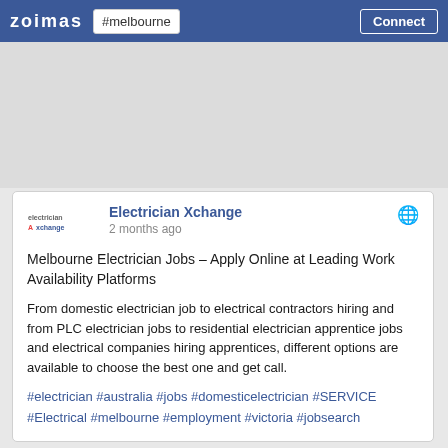zoimas  #melbourne  Connect
[Figure (screenshot): Gray advertisement placeholder area]
[Figure (logo): Electrician Xchange logo — small text logo with red A]
Electrician Xchange
2 months ago
Melbourne Electrician Jobs – Apply Online at Leading Work Availability Platforms
From domestic electrician job to electrical contractors hiring and from PLC electrician jobs to residential electrician apprentice jobs and electrical companies hiring apprentices, different options are available to choose the best one and get call.
#electrician #australia #jobs #domesticelectrician #SERVICE #Electrical #melbourne #employment #victoria #jobsearch